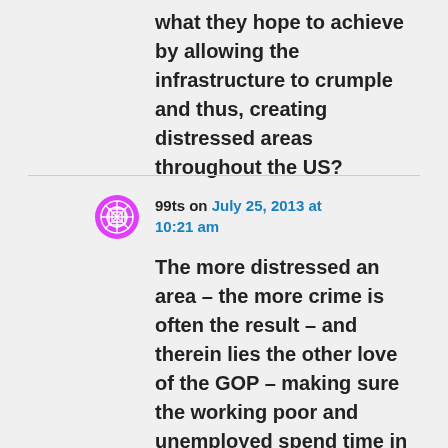what they hope to achieve by allowing the infrastructure to crumple and thus, creating distressed areas throughout the US?
99ts on July 25, 2013 at 10:21 am
The more distressed an area – the more crime is often the result – and therein lies the other love of the GOP – making sure the working poor and unemployed spend time in